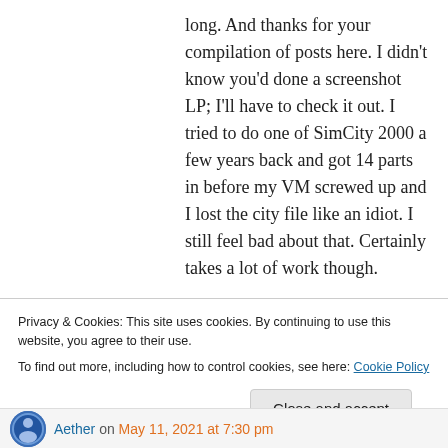long. And thanks for your compilation of posts here. I didn't know you'd done a screenshot LP; I'll have to check it out. I tried to do one of SimCity 2000 a few years back and got 14 parts in before my VM screwed up and I lost the city file like an idiot. I still feel bad about that. Certainly takes a lot of work though.

I'm also surprised that anyone's looking for porn of Yandere Simulator characters considering the state of that project. I see Wikipedia still lists the
Privacy & Cookies: This site uses cookies. By continuing to use this website, you agree to their use.
To find out more, including how to control cookies, see here: Cookie Policy
Close and accept
Aether on May 11, 2021 at 7:30 pm